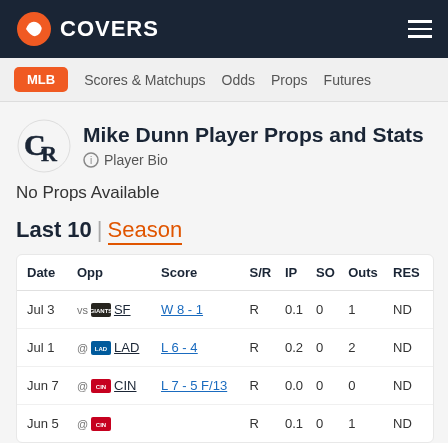COVERS
MLB | Scores & Matchups | Odds | Props | Futures
Mike Dunn Player Props and Stats
Player Bio
No Props Available
Last 10 | Season
| Date | Opp | Score | S/R | IP | SO | Outs | RES |
| --- | --- | --- | --- | --- | --- | --- | --- |
| Jul 3 | vs SF | W 8 - 1 | R | 0.1 | 0 | 1 | ND |
| Jul 1 | @ LAD | L 6 - 4 | R | 0.2 | 0 | 2 | ND |
| Jun 7 | @ CIN | L 7 - 5 F/13 | R | 0.0 | 0 | 0 | ND |
| Jun 5 | @ CIN | W 6 - 2 | R | 0.1 | 0 | 1 | ND |